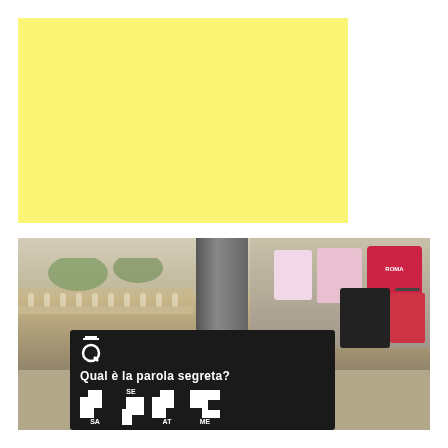[Figure (illustration): A solid yellow/pale-yellow rectangle block on a white background]
[Figure (photo): Outdoor photo near a column/pillar with a gravel ground, balustrade on the left, a market stall with bags and luggage on the right. In the foreground is a black sign board with a Q logo (with a top hat), text 'Qual è la parola segreta?' and puzzle tile pieces labeled SA, SE, AT, ME.]